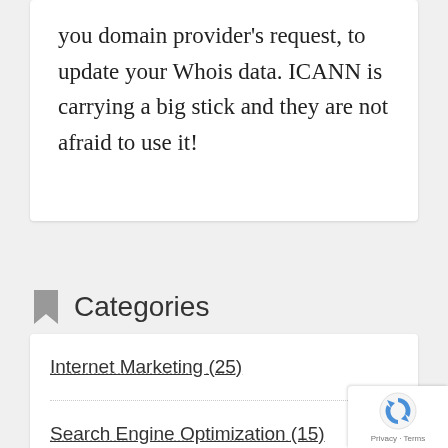you domain provider's request, to update your Whois data. ICANN is carrying a big stick and they are not afraid to use it!
Categories
Internet Marketing (25)
Search Engine Optimization (15)